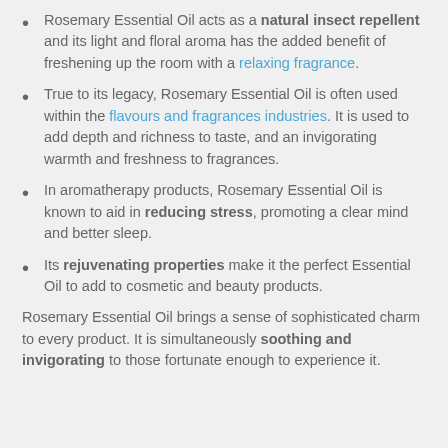Rosemary Essential Oil acts as a natural insect repellent and its light and floral aroma has the added benefit of freshening up the room with a relaxing fragrance.
True to its legacy, Rosemary Essential Oil is often used within the flavours and fragrances industries. It is used to add depth and richness to taste, and an invigorating warmth and freshness to fragrances.
In aromatherapy products, Rosemary Essential Oil is known to aid in reducing stress, promoting a clear mind and better sleep.
Its rejuvenating properties make it the perfect Essential Oil to add to cosmetic and beauty products.
Rosemary Essential Oil brings a sense of sophisticated charm to every product. It is simultaneously soothing and invigorating to those fortunate enough to experience it.